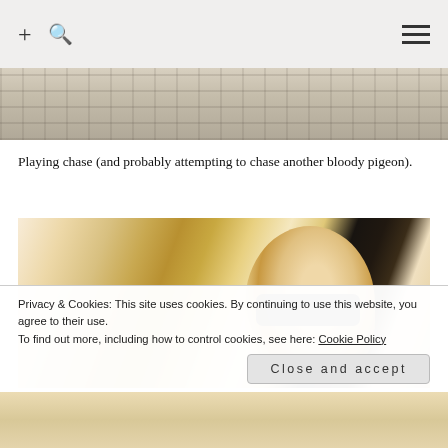+ 🔍 ≡
[Figure (photo): Aerial view of cobblestone street/plaza]
Playing chase (and probably attempting to chase another bloody pigeon).
[Figure (photo): Man wearing sunglasses smiling in front of a brick building, outdoor setting]
Privacy & Cookies: This site uses cookies. By continuing to use this website, you agree to their use.
To find out more, including how to control cookies, see here: Cookie Policy
Close and accept
[Figure (photo): Partial view of another photo at bottom of page]